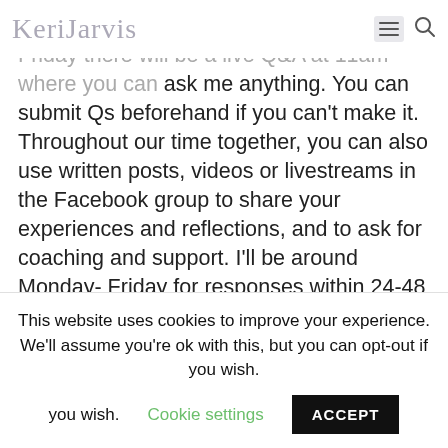Keri Jarvis [logo with hamburger menu and search icon]
Facebook group. Each Monday Each Friday there will be a live Q&A at 11am where you can ask me anything. You can submit Qs beforehand if you can't make it. Throughout our time together, you can also use written posts, videos or livestreams in the Facebook group to share your experiences and reflections, and to ask for coaching and support. I'll be around Monday- Friday for responses within 24-48 hours. So that's 6 sessions, 6 Q&As and access in between, for 6
This website uses cookies to improve your experience. We'll assume you're ok with this, but you can opt-out if you wish.
Cookie settings
ACCEPT